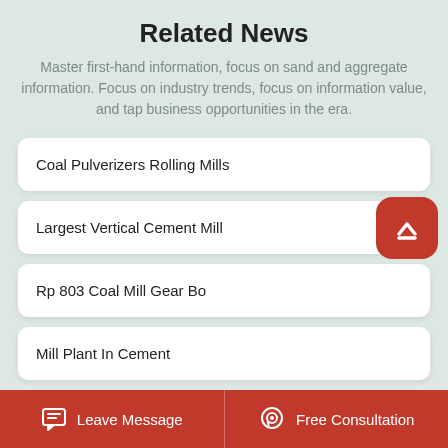Related News
Master first-hand information, focus on sand and aggregate information. Focus on industry trends, focus on information value, and tap business opportunities in the era.
Coal Pulverizers Rolling Mills
Largest Vertical Cement Mill
Rp 803 Coal Mill Gear Bo
Mill Plant In Cement
Leave Message   Free Consultation